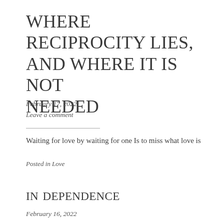Where reciprocity lies, and where it is not needed
February 17, 2022
Leave a comment
Waiting for love by waiting for one Is to miss what love is
Posted in Love
in dependence
February 16, 2022